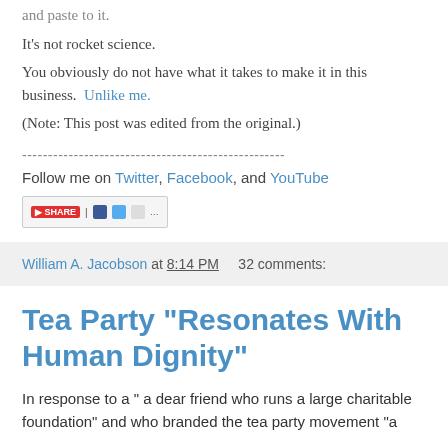and paste to it.
It's not rocket science.
You obviously do not have what it takes to make it in this business.  Unlike me.
(Note: This post was edited from the original.)
---------------------------------------------------
Follow me on Twitter, Facebook, and YouTube
[Figure (other): Social share bar with share button and social media icons]
William A. Jacobson at 8:14 PM    32 comments:
Tea Party "Resonates With Human Dignity"
In response to a " a dear friend who runs a large charitable foundation" and who branded the tea party movement "a